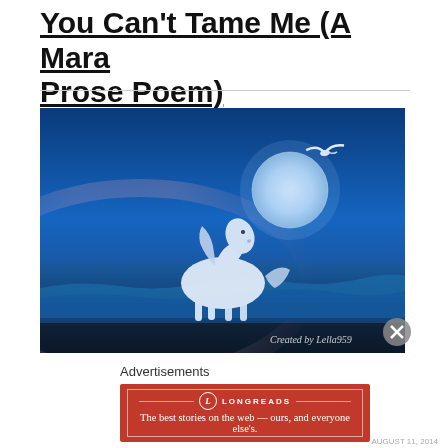You Can't Tame Me (A Mara Prose Poem)
[Figure (photo): A white horse galloping on a beach at night under a full moon with a seagull flying in the upper right. Blue-toned digital art image with a rainbow arc and ocean waves. Watermark: 'Created by Lella959']
Advertisements
[Figure (infographic): Longreads advertisement banner with red background. Text: 'The best stories on the web — ours, and everyone else's.']